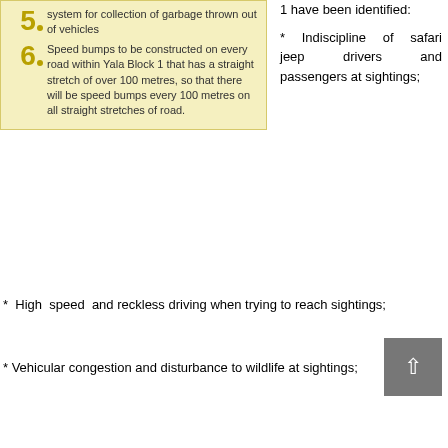[Figure (infographic): Yellow numbered list box showing items 5 and 6. Item 5: system for collection of garbage thrown out of vehicles. Item 6: Speed bumps to be constructed on every road within Yala Block 1 that has a straight stretch of over 100 metres, so that there will be speed bumps every 100 metres on all straight stretches of road.]
* Indiscipline of safari jeep drivers and passengers at sightings;
* High speed and reckless driving when trying to reach sightings;
* Vehicular congestion and disturbance to wildlife at sightings;
* Over-visitation in Yala Block 1;
* Poor nature interpretation services offered by the Department of Wildlife Conservation (DWC);
* Lack of adequate staff and facilities such as, patrol vehicles for DWC to regulate tourism; and
* Continued political interference resulting in the lack of independence for DWC to regulate tourism within Yala NP.